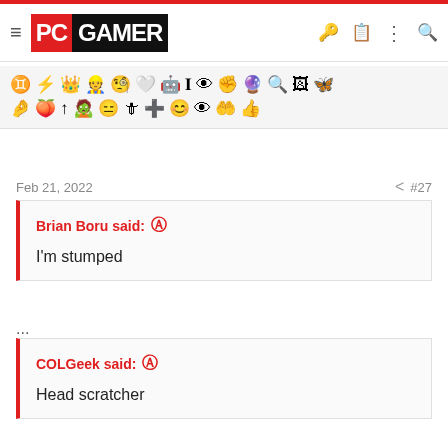PC GAMER
[Figure (screenshot): Emoji/icon toolbar with various game-related icons in two rows]
Feb 21, 2022   #27
Brian Boru said: ↑
I'm stumped
...
COLGeek said: ↑
Head scratcher